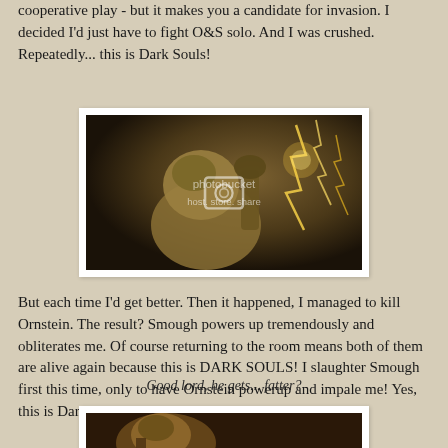cooperative play - but it makes you a candidate for invasion. I decided I'd just have to fight O&S solo. And I was crushed. Repeatedly... this is Dark Souls!
[Figure (photo): Screenshot from Dark Souls showing an armored boss character (Smough) in a dark environment with lightning effects, with a Photobucket watermark overlay reading 'photobucket host. store. share']
Good lord, he gets... fatter?
But each time I'd get better. Then it happened, I managed to kill Ornstein. The result? Smough powers up tremendously and obliterates me. Of course returning to the room means both of them are alive again because this is DARK SOULS! I slaughter Smough first this time, only to have Ornstein powerup and impale me! Yes, this is Dark Souls!
[Figure (photo): Partial screenshot from Dark Souls showing another boss character in a dark environment]